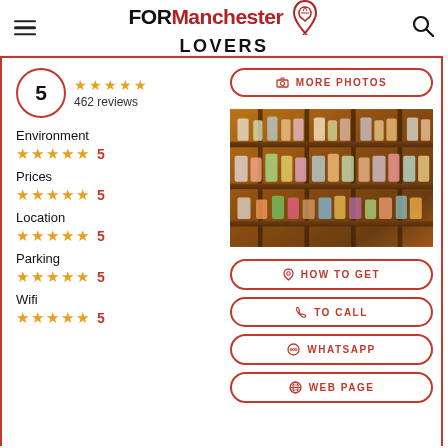FOR Manchester LOVERS
5  ★★★★★  462 reviews
Environment ★★★★★ 5
Prices ★★★★★ 5
Location ★★★★★ 5
Parking ★★★★★ 5
Wifi ★★★★★ 5
[Figure (photo): Bar shelves with illuminated bottles of alcohol on brick wall background]
MORE PHOTOS
HOW TO GET
TO CALL
WHATSAPP
WEB PAGE